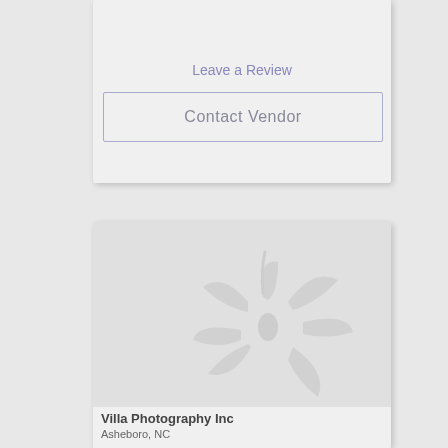Leave a Review
Contact Vendor
[Figure (illustration): Vendor listing card with a decorative flower/daisy watermark illustration in light gray on a light gray background]
Villa Photography Inc
Asheboro, NC